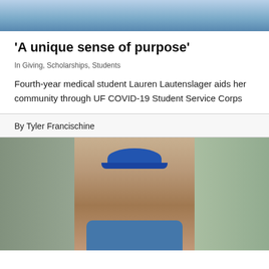[Figure (photo): Top portion of a photo showing a person in blue medical/scrub clothing]
'A unique sense of purpose'
In Giving, Scholarships, Students
Fourth-year medical student Lauren Lautenslager aids her community through UF COVID-19 Student Service Corps
By Tyler Francischine
[Figure (photo): A smiling young man wearing a blue bandana/cap, photographed outdoors with palm trees and a building in the background, wearing a blue patterned shirt]